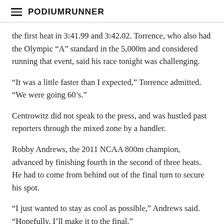PodiumRunner
the first heat in 3:41.99 and 3:42.02. Torrence, who also had the Olympic “A” standard in the 5,000m and considered running that event, said his race tonight was challenging.
“It was a little faster than I expected,” Torrence admitted. “We were going 60’s.”
Centrowitz did not speak to the press, and was hustled past reporters through the mixed zone by a handler.
Robby Andrews, the 2011 NCAA 800m champion, advanced by finishing fourth in the second of three heats. He had to come from behind out of the final turn to secure his spot.
“I just wanted to stay as cool as possible,” Andrews said. “Hopefully, I’ll make it to the final.”